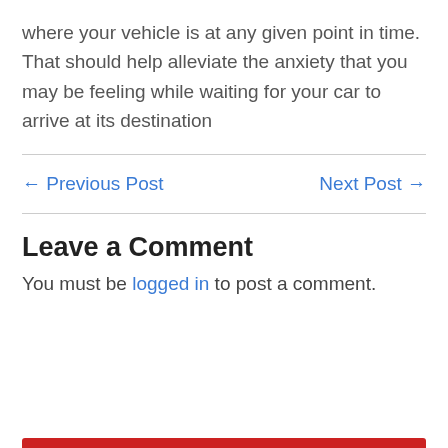where your vehicle is at any given point in time. That should help alleviate the anxiety that you may be feeling while waiting for your car to arrive at its destination
← Previous Post    Next Post →
Leave a Comment
You must be logged in to post a comment.